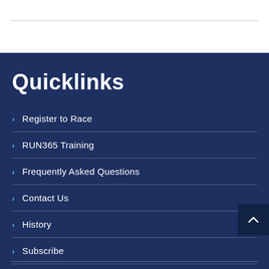Quicklinks
Register to Race
RUN365 Training
Frequently Asked Questions
Contact Us
History
Subscribe